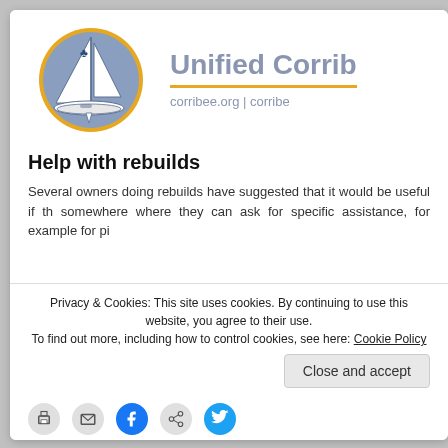[Figure (logo): Unified Corribee sailing club logo: a circular badge with gold border and blue-grey background featuring a sailboat with a shamrock on the sail]
Unified Corrib
corribee.org | corribe
Help with rebuilds
Several owners doing rebuilds have suggested that it would be useful if th somewhere where they can ask for specific assistance, for example for pi
Privacy & Cookies: This site uses cookies. By continuing to use this website, you agree to their use.
To find out more, including how to control cookies, see here: Cookie Policy
Close and accept